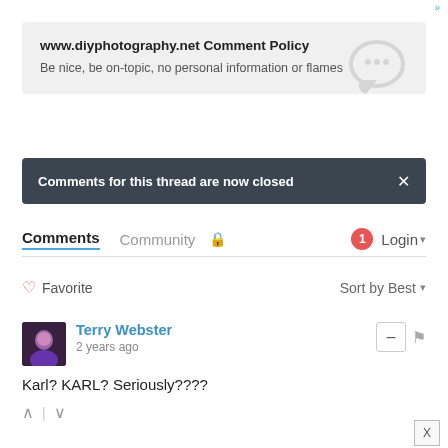www.diyphotography.net Comment Policy
Be nice, be on-topic, no personal information or flames
Comments for this thread are now closed
Comments  Community  🔒  1  Login ▾
♡ Favorite    Sort by Best ▾
Terry Webster
2 years ago
Karl? KARL? Seriously????